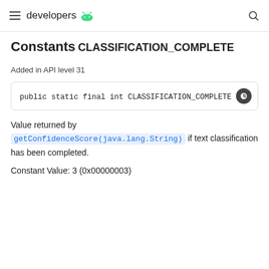developers [android logo]
Constants
CLASSIFICATION_COMPLETE
Added in API level 31
Value returned by getConfidenceScore(java.lang.String) if text classification has been completed.
Constant Value: 3 (0x00000003)